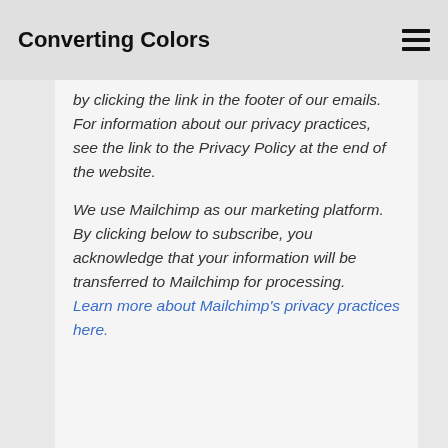Converting Colors
by clicking the link in the footer of our emails. For information about our privacy practices, see the link to the Privacy Policy at the end of the website.

We use Mailchimp as our marketing platform. By clicking below to subscribe, you acknowledge that your information will be transferred to Mailchimp for processing. Learn more about Mailchimp's privacy practices here.